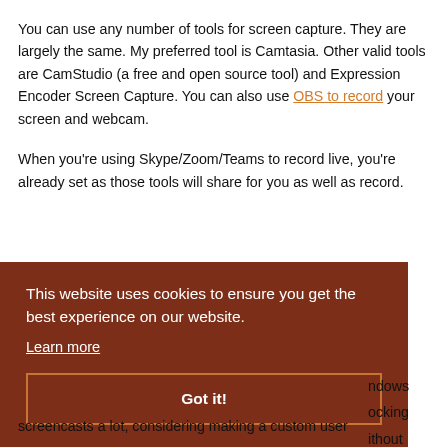You can use any number of tools for screen capture. They are largely the same. My preferred tool is Camtasia. Other valid tools are CamStudio (a free and open source tool) and Expression Encoder Screen Capture. You can also use OBS to record your screen and webcam.
When you're using Skype/Zoom/Teams to record live, you're already set as those tools will share for you as well as record.
WINDOWS LOOK AND FEEL
[Figure (screenshot): Cookie consent banner overlay with brown background. Text reads: 'This website uses cookies to ensure you get the best experience on our website.' with a 'Learn more' link and a 'Got it!' button with orange border.]
screencasts a lot, considering making a custom user